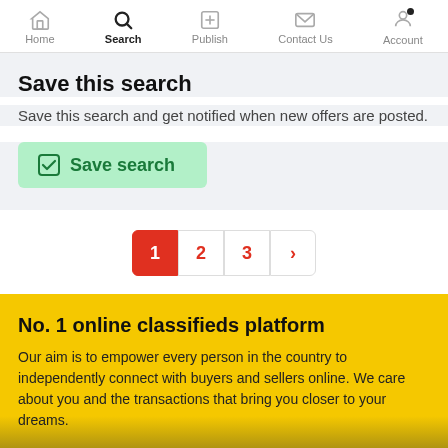Home | Search | Publish | Contact Us | Account
Save this search
Save this search and get notified when new offers are posted.
Save search (button)
Pagination: 1 2 3 >
No. 1 online classifieds platform
Our aim is to empower every person in the country to independently connect with buyers and sellers online. We care about you and the transactions that bring you closer to your dreams.
Add a new listing